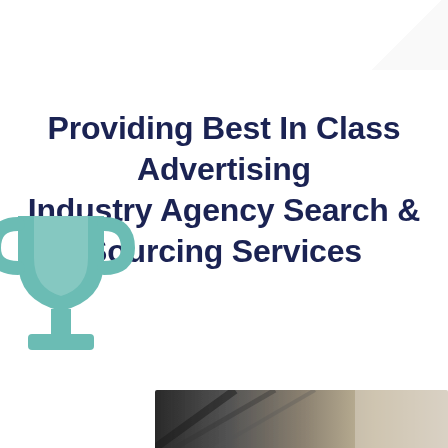Providing Best In Class Advertising Industry Agency Search & Sourcing Services
[Figure (illustration): Teal/mint colored trophy icon in the bottom-left area of the page]
[Figure (photo): Partial photo strip at the bottom of the page showing what appears to be a business/office scene]